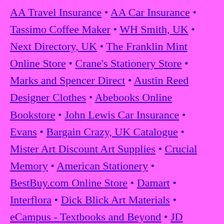AA Travel Insurance • AA Car Insurance • Tassimo Coffee Maker • WH Smith, UK • Next Directory, UK • The Franklin Mint Online Store • Crane's Stationery Store • Marks and Spencer Direct • Austin Reed Designer Clothes • Abebooks Online Bookstore • John Lewis Car Insurance • Evans • Bargain Crazy, UK Catalogue • Mister Art Discount Art Supplies • Crucial Memory • American Stationery • BestBuy.com Online Store • Damart • Interflora • Dick Blick Art Materials • eCampus - Textbooks and Beyond • JD Williams Catalogue • Executive Office